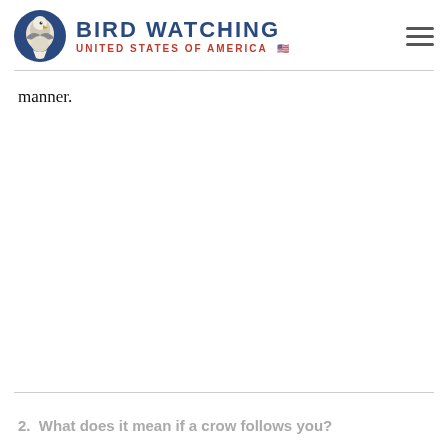BIRD WATCHING UNITED STATES OF AMERICA
manner.
2.  What does it mean if a crow follows you?